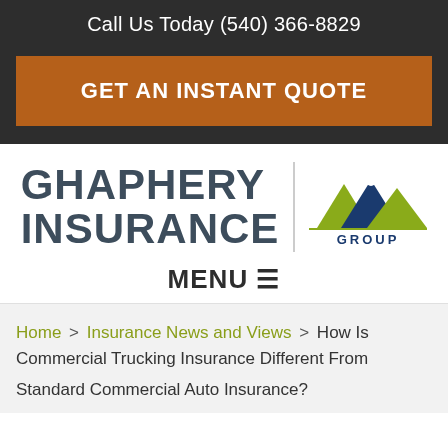Call Us Today (540) 366-8829
GET AN INSTANT QUOTE
[Figure (logo): Ghaphery Insurance | Hill Group logo — 'GHAPHERY INSURANCE' in bold dark slate text on left, vertical divider, Hill Group logo on right with green and navy hill/bar graphic and 'GROUP' text below]
MENU ≡
Home > Insurance News and Views > How Is Commercial Trucking Insurance Different From Standard Commercial Auto Insurance?